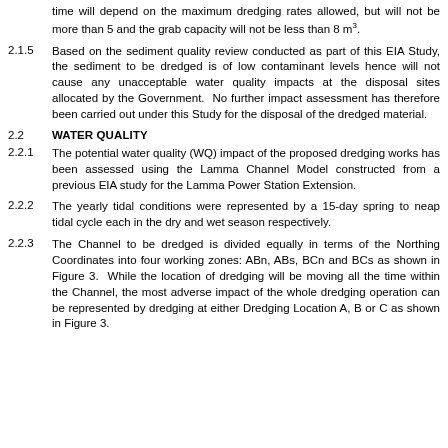time will depend on the maximum dredging rates allowed, but will not be more than 5 and the grab capacity will not be less than 8 m³.
2.1.5    Based on the sediment quality review conducted as part of this EIA Study, the sediment to be dredged is of low contaminant levels hence will not cause any unacceptable water quality impacts at the disposal sites allocated by the Government.  No further impact assessment has therefore been carried out under this Study for the disposal of the dredged material.
2.2    WATER QUALITY
2.2.1    The potential water quality (WQ) impact of the proposed dredging works has been assessed using the Lamma Channel Model constructed from a previous EIA study for the Lamma Power Station Extension.
2.2.2    The yearly tidal conditions were represented by a 15-day spring to neap tidal cycle each in the dry and wet season respectively.
2.2.3    The Channel to be dredged is divided equally in terms of the Northing Coordinates into four working zones: ABn, ABs, BCn and BCs as shown in Figure 3.  While the location of dredging will be moving all the time within the Channel, the most adverse impact of the whole dredging operation can be represented by dredging at either Dredging Location A, B or C as shown in Figure 3.